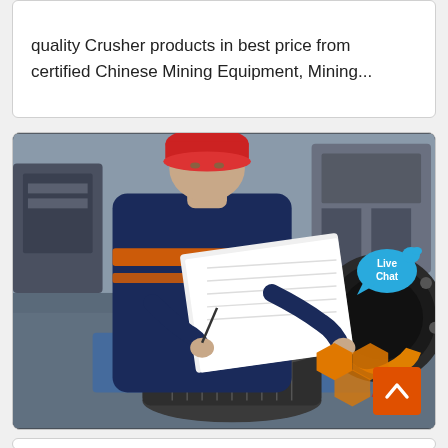quality Crusher products in best price from certified Chinese Mining Equipment, Mining...
[Figure (photo): A worker in an orange and navy safety vest and red hard hat bends over industrial equipment, writing in a notebook or document. In the foreground is a large cylindrical metal crusher component. A Live Chat bubble overlays the upper right of the image, and an orange scroll-to-top button appears in the lower right.]